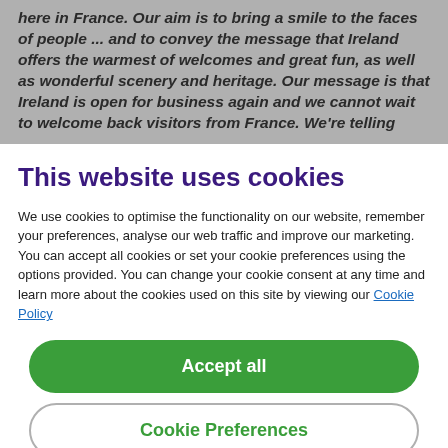here in France. Our aim is to bring a smile to the faces of people ... and to convey the message that Ireland offers the warmest of welcomes and great fun, as well as wonderful scenery and heritage. Our message is that Ireland is open for business again and we cannot wait to welcome back visitors from France. We're telling
This website uses cookies
We use cookies to optimise the functionality on our website, remember your preferences, analyse our web traffic and improve our marketing. You can accept all cookies or set your cookie preferences using the options provided. You can change your cookie consent at any time and learn more about the cookies used on this site by viewing our Cookie Policy